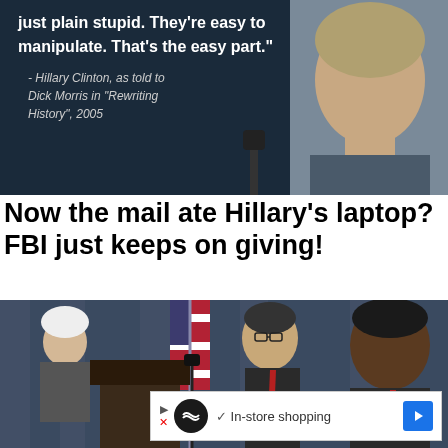[Figure (photo): Dark-background image showing text overlay of a fabricated quote attributed to Hillary Clinton, with a photo of Hillary Clinton on the right side speaking at a microphone. Text reads: 'just plain stupid. They're easy to manipulate. That's the easy part.' - Hillary Clinton, as told to Dick Morris in 'Rewriting History', 2005]
Now the mail ate Hillary's laptop? FBI just keeps on giving!
[Figure (photo): Photo of two men in suits with red ties standing at a press conference podium with an American flag in the background and blue curtains.]
In-store shopping